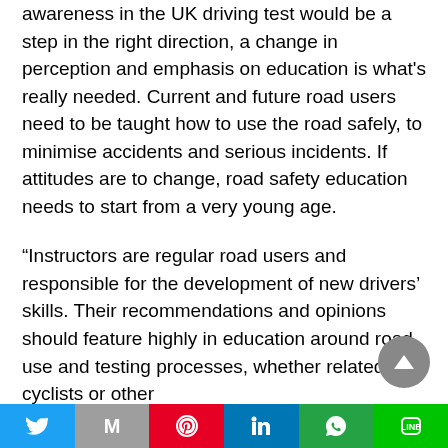awareness in the UK driving test would be a step in the right direction, a change in perception and emphasis on education is what's really needed. Current and future road users need to be taught how to use the road safely, to minimise accidents and serious incidents. If attitudes are to change, road safety education needs to start from a very young age.
“Instructors are regular road users and responsible for the development of new drivers’ skills. Their recommendations and opinions should feature highly in education around road use and testing processes, whether related to cyclists or other
[Figure (other): Social sharing bar with icons for Twitter, Mail, Pinterest, LinkedIn, WhatsApp, and Line]